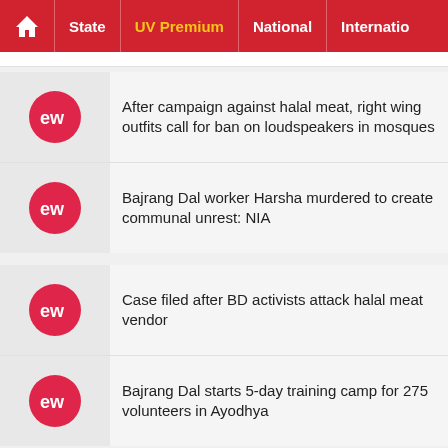Home | State | UV Premium | National | International
After campaign against halal meat, right wing outfits call for ban on loudspeakers in mosques
Bajrang Dal worker Harsha murdered to create communal unrest: NIA
Case filed after BD activists attack halal meat vendor
Bajrang Dal starts 5-day training camp for 275 volunteers in Ayodhya